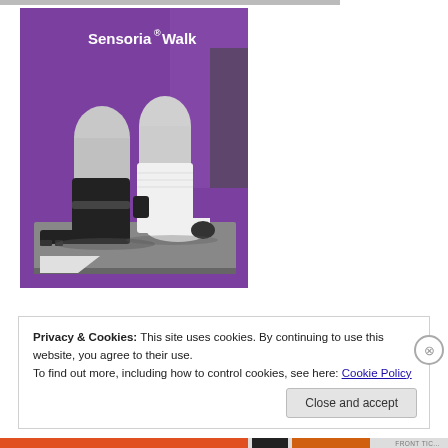[Figure (photo): Photo of two mannequin foot/leg models on a display table against a purple background, one wearing a black orthotic boot and the other wearing a white sock with a small black device attached at the ankle. White text in upper left reads 'Sensoria® Walk'.]
Privacy & Cookies: This site uses cookies. By continuing to use this website, you agree to their use.
To find out more, including how to control cookies, see here: Cookie Policy